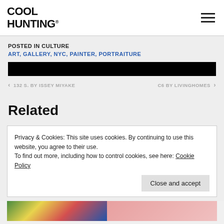COOL HUNTING®
POSTED IN CULTURE
ART, GALLERY, NYC, PAINTER, PORTRAITURE
[Figure (other): Black navigation bar]
< 132 S. BY ISSEY MIYAKE    C6 BY LIVINGHOMES >
Related
Privacy & Cookies: This site uses cookies. By continuing to use this website, you agree to their use.
To find out more, including how to control cookies, see here: Cookie Policy
[Figure (photo): Colorful artwork images at the bottom of the page]